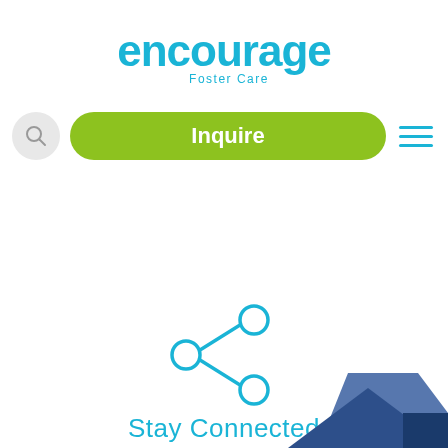[Figure (logo): Encourage Foster Care logo in teal/blue with a heart shape inside the letter 'o']
[Figure (screenshot): Website navigation bar with a search icon (grey circle), a green pill-shaped Inquire button, and a hamburger menu icon (blue lines) on the right]
[Figure (infographic): Blue share/network icon with three circles connected by lines]
Stay Connected
[Figure (infographic): Social media icons for Instagram, YouTube, and Facebook in blue outline style]
[Figure (illustration): Dark blue geometric house rooftop shapes in the bottom right corner]